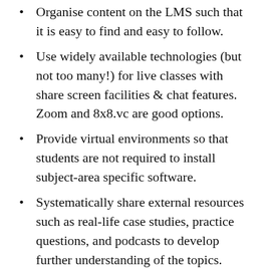Organise content on the LMS such that it is easy to find and easy to follow.
Use widely available technologies (but not too many!) for live classes with share screen facilities & chat features. Zoom and 8x8.vc are good options.
Provide virtual environments so that students are not required to install subject-area specific software.
Systematically share external resources such as real-life case studies, practice questions, and podcasts to develop further understanding of the topics.
2. Promote teamwork